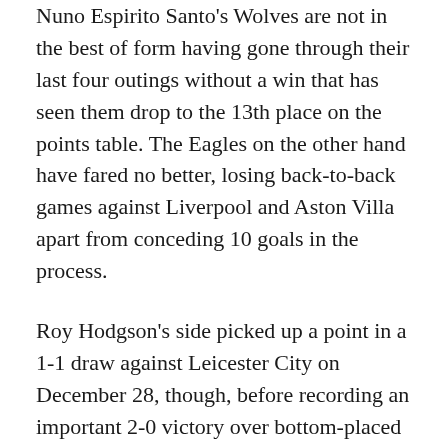Nuno Espirito Santo's Wolves are not in the best of form having gone through their last four outings without a win that has seen them drop to the 13th place on the points table. The Eagles on the other hand have fared no better, losing back-to-back games against Liverpool and Aston Villa apart from conceding 10 goals in the process.
Roy Hodgson's side picked up a point in a 1-1 draw against Leicester City on December 28, though, before recording an important 2-0 victory over bottom-placed Sheffield United last weekend.
Wolverhampton Recent Form
Wolverhampton Wanderers FA Cup from...